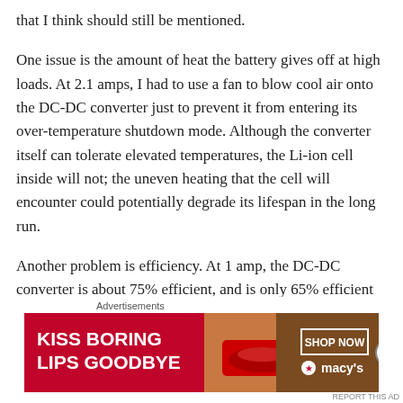that I think should still be mentioned.
One issue is the amount of heat the battery gives off at high loads. At 2.1 amps, I had to use a fan to blow cool air onto the DC-DC converter just to prevent it from entering its over-temperature shutdown mode. Although the converter itself can tolerate elevated temperatures, the Li-ion cell inside will not; the uneven heating that the cell will encounter could potentially degrade its lifespan in the long run.
Another problem is efficiency. At 1 amp, the DC-DC converter is about 75% efficient, and is only 65% efficient at 2 amps. I have not tested the converter's efficiency at
Advertisements
[Figure (photo): Macy's advertisement banner: 'KISS BORING LIPS GOODBYE' with a woman's face and lips, SHOP NOW button and Macy's logo on red background]